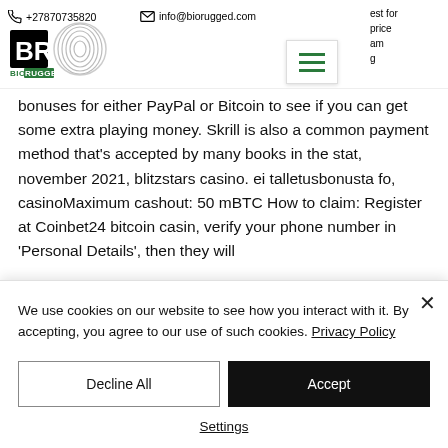+27870735820 | info@biorugged.com
[Figure (logo): Bio Rugged BR logo with fingerprint graphic]
bonuses for either PayPal or Bitcoin to see if you can get some extra playing money. Skrill is also a common payment method that's accepted by many books in the stat, november 2021, blitzstars casino. ei talletusbonusta fo, casinoMaximum cashout: 50 mBTC How to claim: Register at Coinbet24 bitcoin casin, verify your phone number in 'Personal Details', then they will
We use cookies on our website to see how you interact with it. By accepting, you agree to our use of such cookies. Privacy Policy
Decline All
Accept
Settings